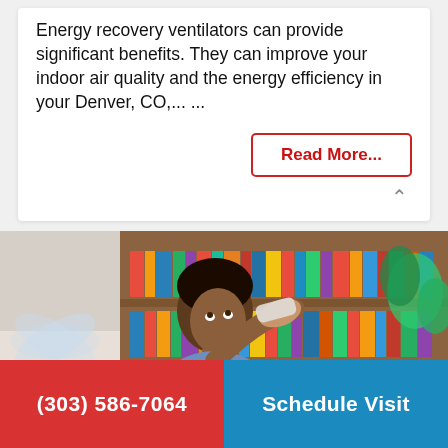Energy recovery ventilators can provide significant benefits. They can improve your indoor air quality and the energy efficiency in your Denver, CO,... ...
Read More...
[Figure (photo): A woman holding a cloth to her forehead, looking up with discomfort, sitting in front of a bookshelf with colorful books and a plant, with a fan nearby.]
(303) 586-7064
Schedule Visit